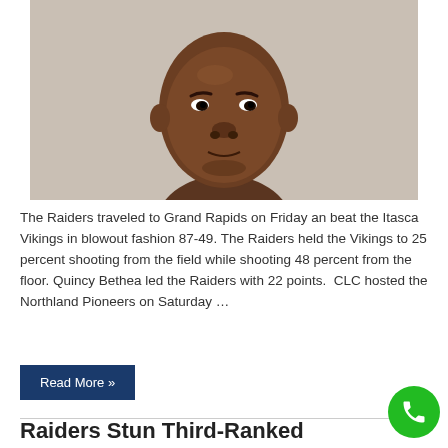[Figure (photo): Mugshot/portrait photo of a man against a light gray/beige background]
The Raiders traveled to Grand Rapids on Friday an beat the Itasca Vikings in blowout fashion 87-49. The Raiders held the Vikings to 25 percent shooting from the field while shooting 48 percent from the floor. Quincy Bethea led the Raiders with 22 points.  CLC hosted the Northland Pioneers on Saturday …
Read More »
Raiders Stun Third-Ranked Vermilion